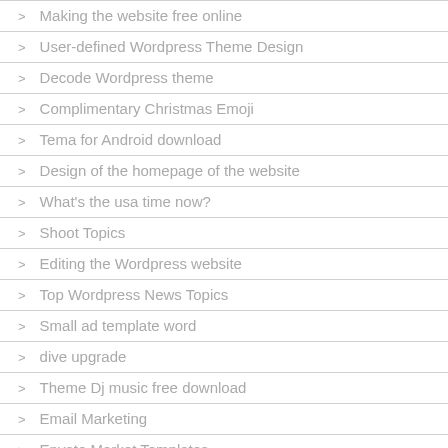Making the website free online
User-defined Wordpress Theme Design
Decode Wordpress theme
Complimentary Christmas Emoji
Tema for Android download
Design of the homepage of the website
What's the usa time now?
Shoot Topics
Editing the Wordpress website
Top Wordpress News Topics
Small ad template word
dive upgrade
Theme Dj music free download
Email Marketing
Envato Market Templates